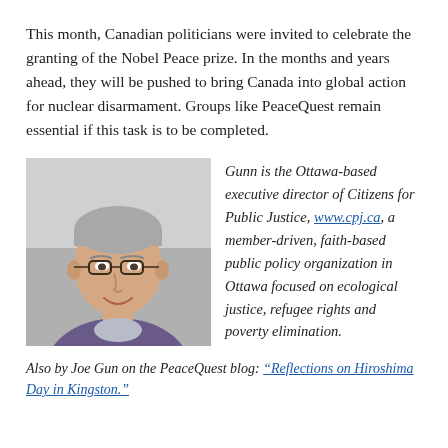This month, Canadian politicians were invited to celebrate the granting of the Nobel Peace prize. In the months and years ahead, they will be pushed to bring Canada into global action for nuclear disarmament. Groups like PeaceQuest remain essential if this task is to be completed.
[Figure (photo): Headshot of a middle-aged man with glasses, greying hair, wearing a purple sweater over a collared shirt, smiling, against a light grey background.]
Gunn is the Ottawa-based executive director of Citizens for Public Justice, www.cpj.ca, a member-driven, faith-based public policy organization in Ottawa focused on ecological justice, refugee rights and poverty elimination.
Also by Joe Gun on the PeaceQuest blog: “Reflections on Hiroshima Day in Kingston.”